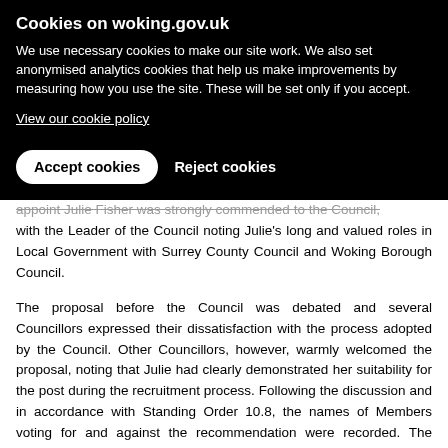Cookies on woking.gov.uk
We use necessary cookies to make our site work.  We also set anonymised analytics cookies that help us make improvements by measuring how you use the site.  These will be set only if you accept.
View our cookie policy
Accept cookies   Reject cookies
appoint Julie Fisher was strongly commended to the Council, with the Leader of the Council noting Julie's long and valued roles in Local Government with Surrey County Council and Woking Borough Council.
The proposal before the Council was debated and several Councillors expressed their dissatisfaction with the process adopted by the Council.  Other Councillors, however, warmly welcomed the proposal, noting that Julie had clearly demonstrated her suitability for the post during the recruitment process.  Following the discussion and in accordance with Standing Order 10.8, the names of Members voting for and against the recommendation were recorded.  The Mayor advised that she would not be voting.